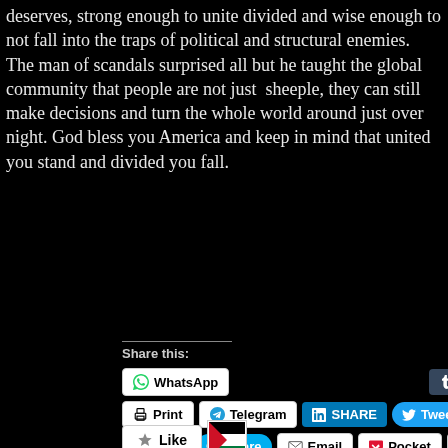deserves, strong enough to unite divided and wise enough to not fall into the traps of political and structural enemies. The man of scandals surprised all but he taught the global community that people are not just sheeple, they can still make decisions and turn the whole world around just over night. God bless you America and keep in mind that united you stand and divided you fall.
Share this:
[Figure (infographic): Social sharing buttons: WhatsApp, Post (Tumblr), Print, Telegram, LinkedIn SHARE, Tweet, Pinterest Save, Skype Share, Email, Pocket with count 0]
[Figure (infographic): Like button with star icon and a Palestinian flag avatar. Caption: One blogger likes this.]
One blogger likes this.